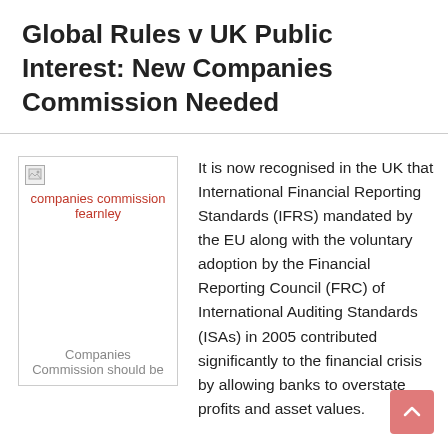Global Rules v UK Public Interest: New Companies Commission Needed
[Figure (photo): Image placeholder for 'companies commission fearnley' with red alt text label and caption 'Companies Commission should be']
It is now recognised in the UK that International Financial Reporting Standards (IFRS) mandated by the EU along with the voluntary adoption by the Financial Reporting Council (FRC) of International Auditing Standards (ISAs) in 2005 contributed significantly to the financial crisis by allowing banks to overstate profits and asset values.